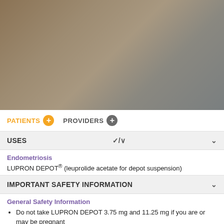[Figure (photo): Blurred warm brown and gray gradient background image, likely a soft-focus pharmaceutical product or nature scene]
PATIENTS  PROVIDERS
USES
Endometriosis
LUPRON DEPOT® (leuprolide acetate for depot suspension)
IMPORTANT SAFETY INFORMATION
General Safety Information
Do not take LUPRON DEPOT 3.75 mg and 11.25 mg if you are or may be pregnant